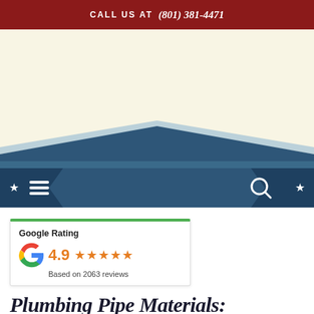CALL US AT (801) 381-4471
[Figure (illustration): Website header graphic showing a cream/beige background with a stylized house rooftop shape (dark blue/navy triangular roof outline) transitioning into the navigation bar below]
[Figure (infographic): Navigation bar with hamburger menu icon on the left, flanked by arrow/chevron shapes with white stars, and a search icon on the right, all on a dark navy blue background]
[Figure (infographic): Google Rating widget showing 4.9 stars based on 2063 reviews, with the Google G logo in multicolor]
Plumbing Pipe Materials: